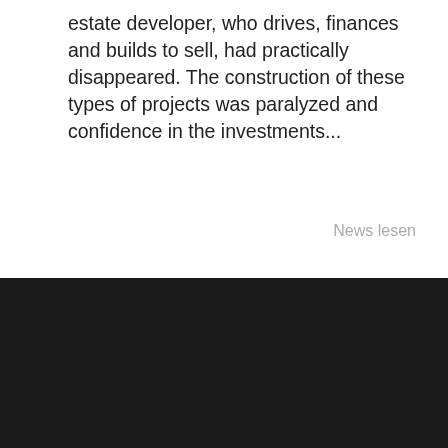estate developer, who drives, finances and builds to sell, had practically disappeared. The construction of these types of projects was paralyzed and confidence in the investments...
News lesen
[Figure (illustration): Large watermark text reading 'FOR YOU FOR LIFE' in light gray, displayed diagonally across the white section of the page background]
[Figure (logo): Berkshire Hathaway HomeServices circular logo badge with BH HS letters in center]
We use cookies to ensure you get the best experience on our website
ACCEPT COOKIES    MEHR INFORMATION
HomeServices